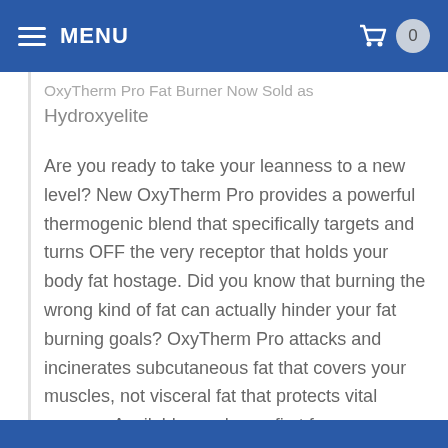MENU
OxyTherm Pro Fat Burner Now Sold as Hydroxyelite
Are you ready to take your leanness to a new level? New OxyTherm Pro provides a powerful thermogenic blend that specifically targets and turns OFF the very receptor that holds your body fat hostage. Did you know that burning the wrong kind of fat can actually hinder your fat burning goals? OxyTherm Pro attacks and incinerates subcutaneous fat that covers your muscles, not visceral fat that protects vital organs.  Available as always first from LiveLeanToday.com